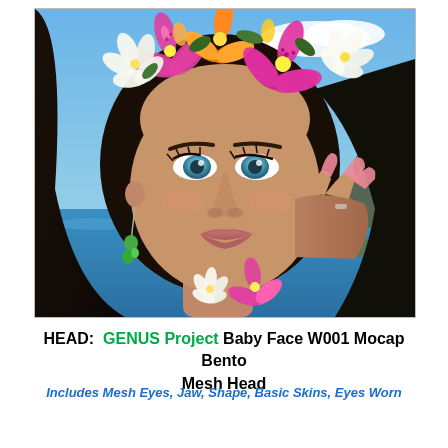[Figure (photo): 3D rendered avatar of a young woman with dark hair, blue eyes, wearing a flower crown of pink and orange lilies and white orchids, green dangling earrings, with a coastal ocean and rocky background. She holds her hand near her face showing long pink nails.]
HEAD:  GENUS Project Baby Face W001 Mocap Bento Mesh Head
Includes Mesh Eyes, Jaw, Shape, Basic Skins, Eyes Worn